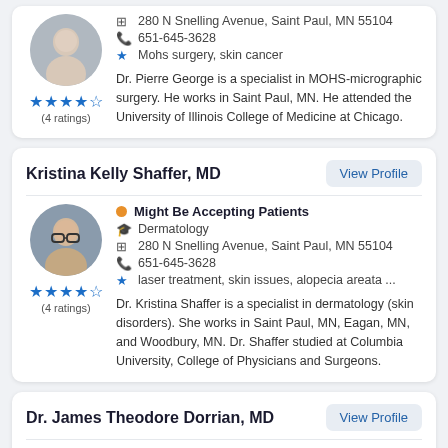280 N Snelling Avenue, Saint Paul, MN 55104
651-645-3628
Mohs surgery, skin cancer
Dr. Pierre George is a specialist in MOHS-micrographic surgery. He works in Saint Paul, MN. He attended the University of Illinois College of Medicine at Chicago.
Kristina Kelly Shaffer, MD
Might Be Accepting Patients
Dermatology
280 N Snelling Avenue, Saint Paul, MN 55104
651-645-3628
laser treatment, skin issues, alopecia areata ...
Dr. Kristina Shaffer is a specialist in dermatology (skin disorders). She works in Saint Paul, MN, Eagan, MN, and Woodbury, MN. Dr. Shaffer studied at Columbia University, College of Physicians and Surgeons.
Dr. James Theodore Dorrian, MD
Might Be Accepting Patients